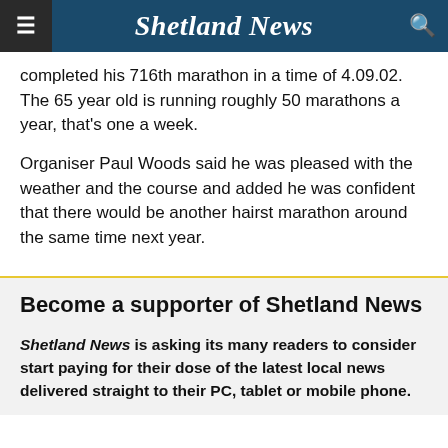Shetland News
completed his 716th marathon in a time of 4.09.02. The 65 year old is running roughly 50 marathons a year, that's one a week.
Organiser Paul Woods said he was pleased with the weather and the course and added he was confident that there would be another hairst marathon around the same time next year.
Become a supporter of Shetland News
Shetland News is asking its many readers to consider start paying for their dose of the latest local news delivered straight to their PC, tablet or mobile phone.